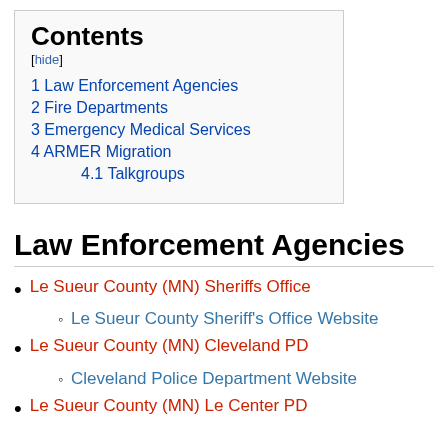Contents
[hide]
1 Law Enforcement Agencies
2 Fire Departments
3 Emergency Medical Services
4 ARMER Migration
4.1 Talkgroups
Law Enforcement Agencies
Le Sueur County (MN) Sheriffs Office
Le Sueur County Sheriff's Office Website
Le Sueur County (MN) Cleveland PD
Cleveland Police Department Website
Le Sueur County (MN) Le Center PD